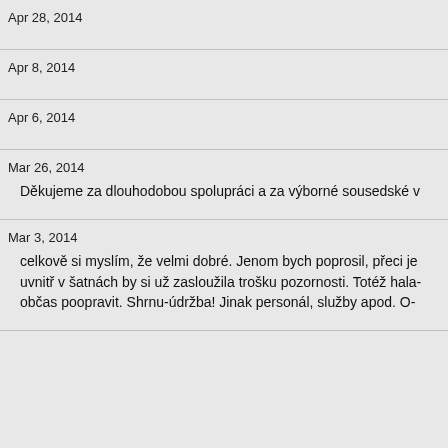Apr 28, 2014
Apr 8, 2014
Apr 6, 2014
Mar 26, 2014
Děkujeme za dlouhodobou spolupráci a za výborné sousedské v
Mar 3, 2014
celkově si myslím, že velmi dobré. Jenom bych poprosil, přeci je uvnitř v šatnách by si už zasloužila trošku pozornosti. Totéž hala- občas poopravit. Shrnu-údržba! Jinak personál, služby apod. O-